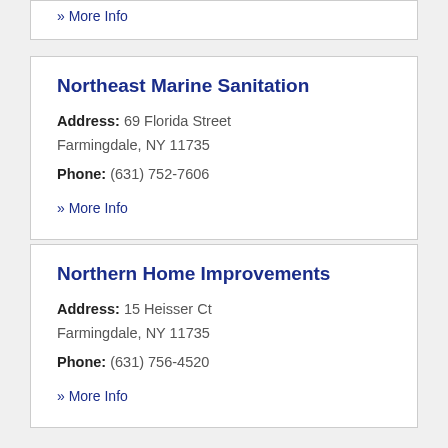» More Info
Northeast Marine Sanitation
Address: 69 Florida Street Farmingdale, NY 11735
Phone: (631) 752-7606
» More Info
Northern Home Improvements
Address: 15 Heisser Ct Farmingdale, NY 11735
Phone: (631) 756-4520
» More Info